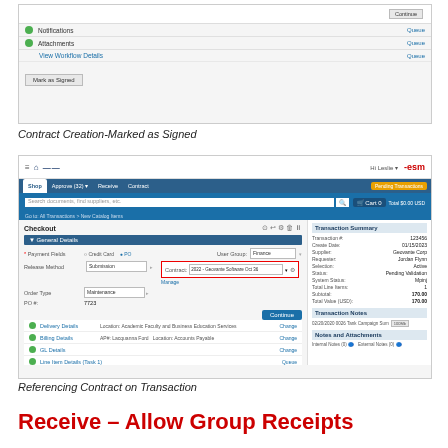[Figure (screenshot): Contract Creation - Marked as Signed screen showing notification, attachments, view workflow details rows with green checkmarks, and a Mark as Signed button]
Contract Creation-Marked as Signed
[Figure (screenshot): ESM procurement system checkout screen referencing a contract on a transaction, showing General Details with Payment Fields, Release Method, Order Type, PO#, User Group, and Contract dropdown highlighted in red border. Right panel shows Transaction Summary and Transaction Notes panels.]
Referencing Contract on Transaction
Receive – Allow Group Receipts